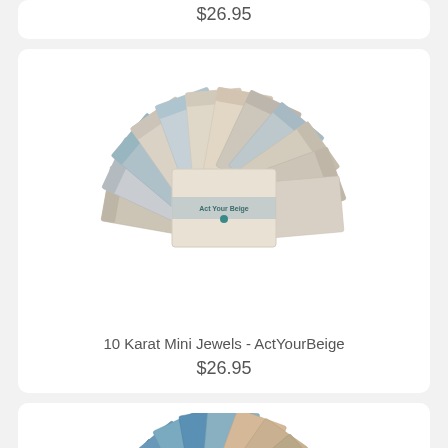$26.95
[Figure (photo): Fan arrangement of fabric swatches in beige, blue-grey, and sandy tones with a label reading 'Act Your Beige' in the center]
10 Karat Mini Jewels - ActYourBeige
$26.95
[Figure (photo): Partial fan arrangement of fabric swatches in blue and tan tones, partially visible at the bottom of the page]